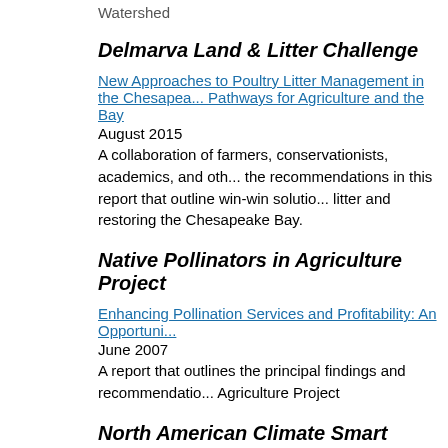Watershed
Delmarva Land & Litter Challenge
New Approaches to Poultry Litter Management in the Chesapeake Bay: Pathways for Agriculture and the Bay
August 2015
A collaboration of farmers, conservationists, academics, and others, the recommendations in this report that outline win-win solutions for litter and restoring the Chesapeake Bay.
Native Pollinators in Agriculture Project
Enhancing Pollination Services and Profitability: An Opportunity...
June 2007
A report that outlines the principal findings and recommendations Agriculture Project
North American Climate Smart Agriculture Alliance